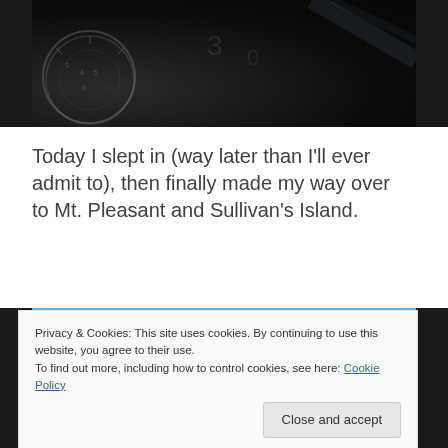[Figure (photo): Dark dashboard/speedometer image with gauge circles visible on dark background]
Today I slept in (way later than I'll ever admit to), then finally made my way over to Mt. Pleasant and Sullivan's Island.
[Figure (photo): Blue sky photograph with a faint white streak/comet-like streak on the right side]
Privacy & Cookies: This site uses cookies. By continuing to use this website, you agree to their use.
To find out more, including how to control cookies, see here: Cookie Policy
Close and accept